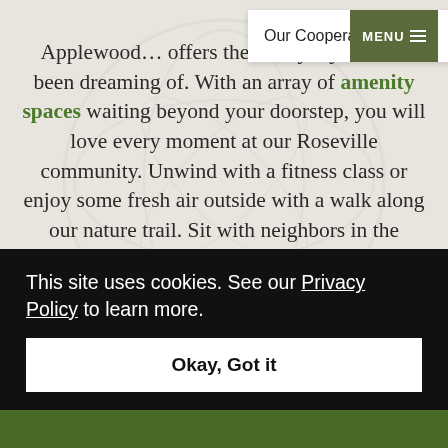Our Cooperatives →   MENU ☰
Applewood … offers the lifestyle you have been dreaming of. With an array of amenity spaces waiting beyond your doorstep, you will love every moment at our Roseville community. Unwind with a fitness class or enjoy some fresh air outside with a walk along our nature trail. Sit with neighbors in the sunroom or toss in your line from the nearby fishing pier at Langton Lake Park. There's so much to love about life at Applewood Pointe of Roseville at Langton … here … your … rs and … Spend
This site uses cookies. See our Privacy Policy to learn more.
Okay, Got it